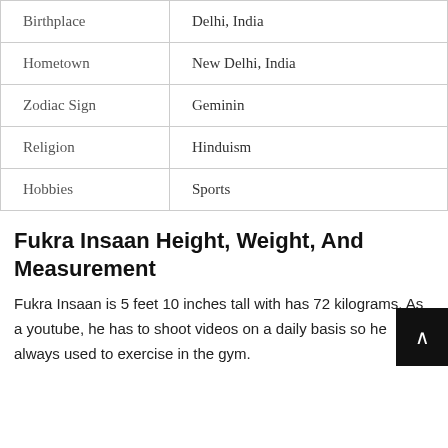| Birthplace | Delhi, India |
| Hometown | New Delhi, India |
| Zodiac Sign | Geminin |
| Religion | Hinduism |
| Hobbies | Sports |
Fukra Insaan Height, Weight, And Measurement
Fukra Insaan is 5 feet 10 inches tall with has 72 kilograms. As a youtube, he has to shoot videos on a daily basis so he always used to exercise in the gym.